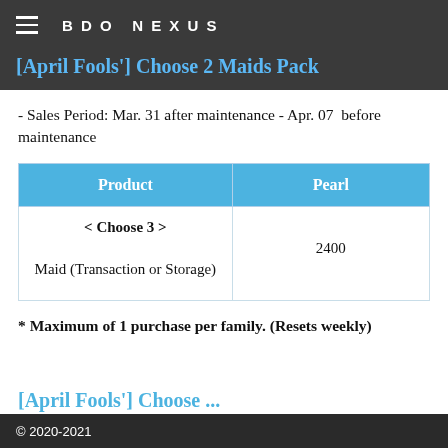BDO NEXUS
[April Fools'] Choose 2 Maids Pack
- Sales Period: Mar. 31 after maintenance - Apr. 07 before maintenance
| Product | Pearl |
| --- | --- |
| < Choose 3 >

Maid (Transaction or Storage) | 2400 |
* Maximum of 1 purchase per family. (Resets weekly)
[April Fools'] Choose...
© 2020-2021